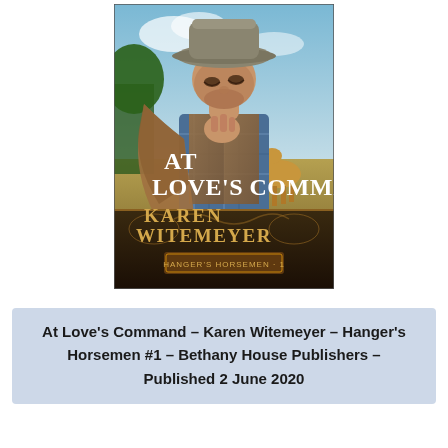[Figure (illustration): Book cover of 'At Love's Command' by Karen Witemeyer. Shows a cowboy man in a plaid shirt and vest wearing a grey cowboy hat, looking down, with a horse visible in the background. Text on cover reads 'AT LOVE'S COMMAND', 'KAREN WITEMEYER', and 'HANGER'S HORSEMEN · 1' on a decorative banner at the bottom.]
At Love's Command – Karen Witemeyer – Hanger's Horsemen #1 – Bethany House Publishers – Published 2 June 2020